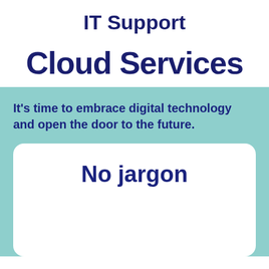IT Support
Cloud Services
It’s time to embrace digital technology and open the door to the future.
No jargon